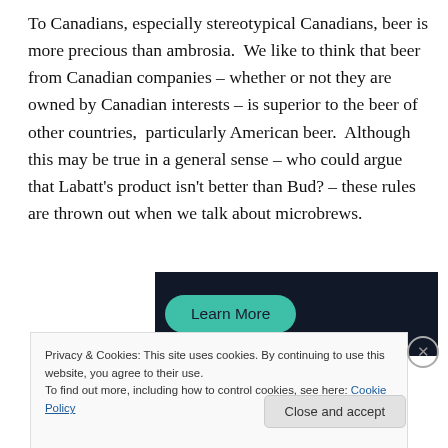To Canadians, especially stereotypical Canadians, beer is more precious than ambrosia.  We like to think that beer from Canadian companies – whether or not they are owned by Canadian interests – is superior to the beer of other countries,  particularly American beer.  Although this may be true in a general sense – who could argue that Labatt's product isn't better than Bud? – these rules are thrown out when we talk about microbrews.
[Figure (other): Dark banner with a teal 'Learn More' button]
Privacy & Cookies: This site uses cookies. By continuing to use this website, you agree to their use.
To find out more, including how to control cookies, see here: Cookie Policy
Close and accept